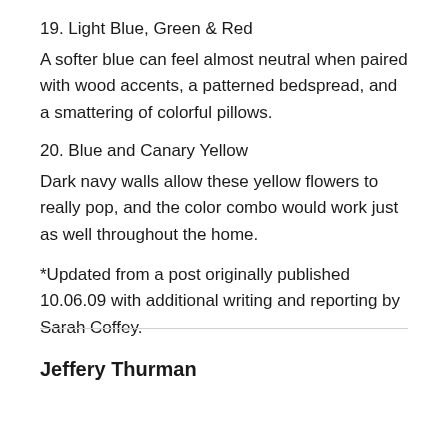19. Light Blue, Green & Red
A softer blue can feel almost neutral when paired with wood accents, a patterned bedspread, and a smattering of colorful pillows.
20. Blue and Canary Yellow
Dark navy walls allow these yellow flowers to really pop, and the color combo would work just as well throughout the home.
*Updated from a post originally published 10.06.09 with additional writing and reporting by Sarah Coffey.
Jeffery Thurman